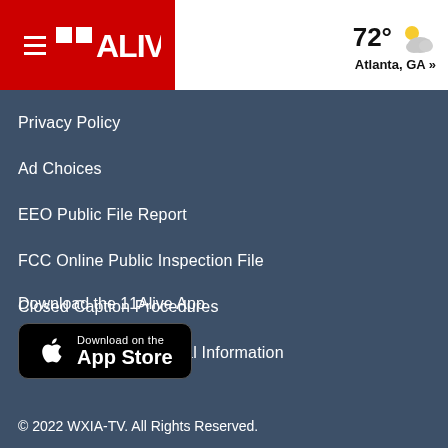[Figure (logo): 11Alive TV station logo with hamburger menu icon on red background, and weather showing 72° with partly cloudy icon and Atlanta, GA location]
Privacy Policy
Ad Choices
EEO Public File Report
FCC Online Public Inspection File
Closed Caption Procedures
Do Not Sell My Personal Information
Download the 11Alive App
[Figure (screenshot): Download on the App Store badge button (black with Apple logo)]
© 2022 WXIA-TV. All Rights Reserved.